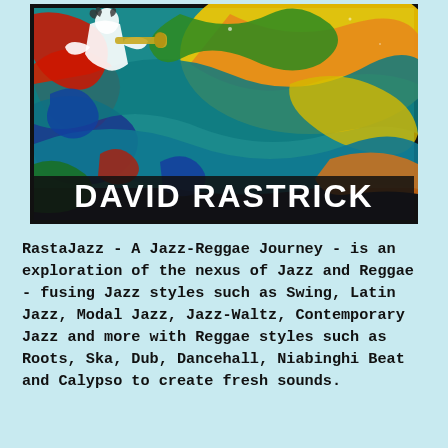[Figure (illustration): Colorful psychedelic album cover illustration with swirling patterns in teal, yellow, red, green, blue, and orange. A figure playing trumpet is visible in the upper portion. Large bold white text at the bottom reads 'DAVID RASTRICK'. The image has a dark border/frame.]
RastaJazz - A Jazz-Reggae Journey - is an exploration of the nexus of Jazz and Reggae - fusing Jazz styles such as Swing, Latin Jazz, Modal Jazz, Jazz-Waltz, Contemporary Jazz and more with Reggae styles such as Roots, Ska, Dub, Dancehall, Niabinghi Beat and Calypso to create fresh sounds.